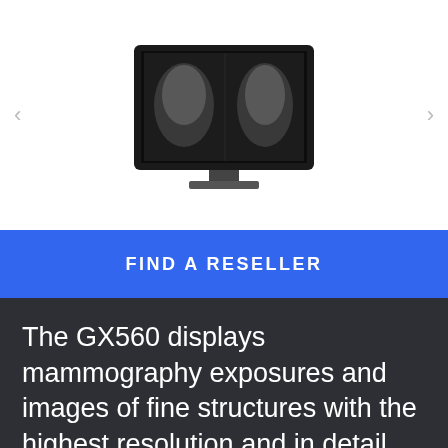[Figure (photo): A medical display monitor (GX560 MammoDuo) showing mammography images, centered on a white background with navigation arrows on left and right sides.]
FIND A RESELLER
The GX560 displays mammography exposures and images of fine structures with the highest resolution and in detail. The GX560 MammoDuo integrates two GX560 monitors side by side on a specifically